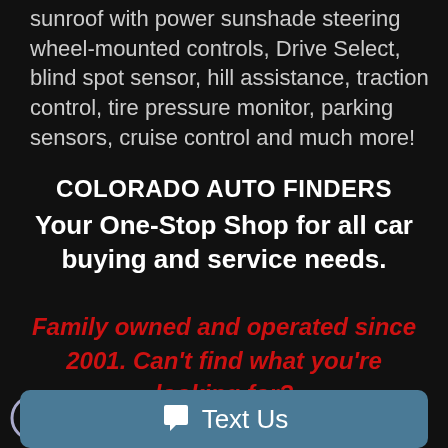sunroof with power sunshade steering wheel-mounted controls, Drive Select, blind spot sensor, hill assistance, traction control, tire pressure monitor, parking sensors, cruise control and much more!
COLORADO AUTO FINDERS
Your One-Stop Shop for all car buying and service needs.
Family owned and operated since 2001. Can't find what you're looking for?
Text Us